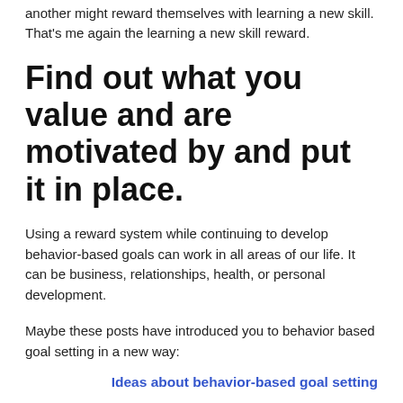another might reward themselves with learning a new skill. That's me again the learning a new skill reward.
Find out what you value and are motivated by and put it in place.
Using a reward system while continuing to develop behavior-based goals can work in all areas of our life. It can be business, relationships, health, or personal development.
Maybe these posts have introduced you to behavior based goal setting in a new way:
Ideas about behavior-based goal setting